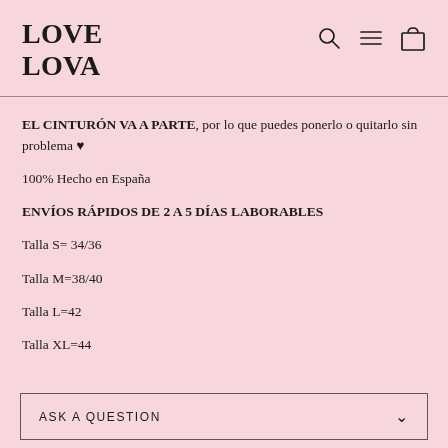LOVE LOVA
EL CINTURÓN VA A PARTE, por lo que puedes ponerlo o quitarlo sin problema ♥

100% Hecho en España

ENVÍOS RÁPIDOS DE 2 A 5 DÍAS LABORABLES

Talla S= 34/36

Talla M=38/40

Talla L=42

Talla XL=44
ASK A QUESTION